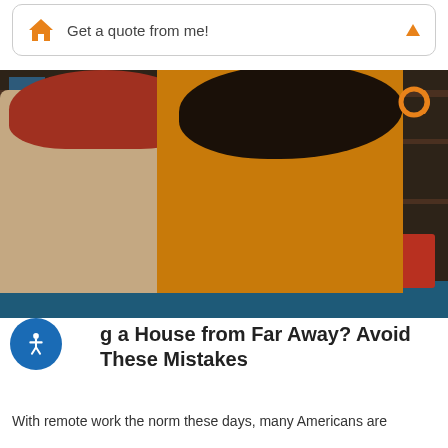Get a quote from me!
[Figure (photo): Two women sitting on a couch, one with red hair and one with curly black hair wearing a yellow sweater, looking at a credit card and laptop together in front of a bookshelf]
Buying a House from Far Away? Avoid These Mistakes
With remote work the norm these days, many Americans are